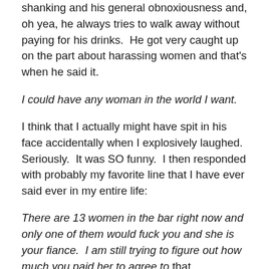shanking and his general obnoxiousness and, oh yea, he always tries to walk away without paying for his drinks.  He got very caught up on the part about harassing women and that's when he said it.
I could have any woman in the world I want.
I think that I actually might have spit in his face accidentally when I explosively laughed.  Seriously.  It was SO funny.  I then responded with probably my favorite line that I have ever said ever in my entire life:
There are 13 women in the bar right now and only one of them would fuck you and she is your fiance.  I am still trying to figure out how much you paid her to agree to that arrangement.
Meanwhile, his poor fiance was sitting at the end of the bar by herself with a friend, not responding, and the